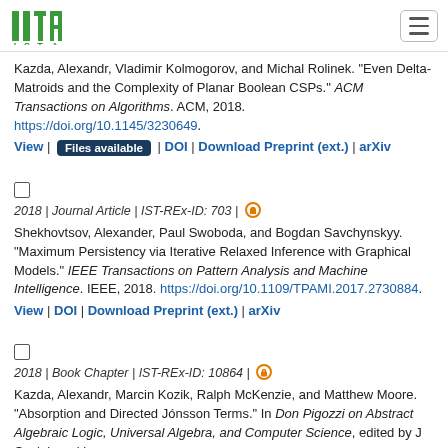ISTA logo and navigation
Kazda, Alexandr, Vladimir Kolmogorov, and Michal Rolinek. "Even Delta-Matroids and the Complexity of Planar Boolean CSPs." ACM Transactions on Algorithms. ACM, 2018. https://doi.org/10.1145/3230649.
View | Files available | DOI | Download Preprint (ext.) | arXiv
2018 | Journal Article | IST-REx-ID: 703 |
Shekhovtsov, Alexander, Paul Swoboda, and Bogdan Savchynskyy. "Maximum Persistency via Iterative Relaxed Inference with Graphical Models." IEEE Transactions on Pattern Analysis and Machine Intelligence. IEEE, 2018. https://doi.org/10.1109/TPAMI.2017.2730884.
View | DOI | Download Preprint (ext.) | arXiv
2018 | Book Chapter | IST-REx-ID: 10864 |
Kazda, Alexandr, Marcin Kozik, Ralph McKenzie, and Matthew Moore. "Absorption and Directed Jónsson Terms." In Don Pigozzi on Abstract Algebraic Logic, Universal Algebra, and Computer Science, edited by J Czelakowski,